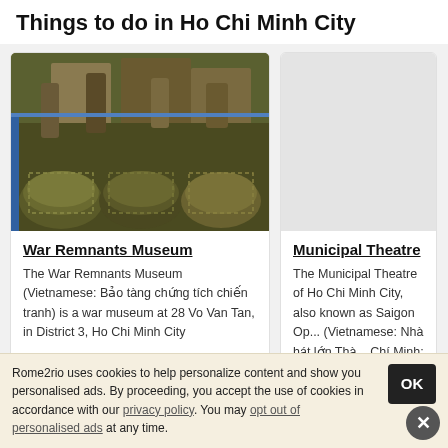Things to do in Ho Chi Minh City
[Figure (photo): War Remnants Museum - military helmets and gear displayed on shelves]
War Remnants Museum
The War Remnants Museum (Vietnamese: Bảo tàng chứng tích chiến tranh) is a war museum at 28 Vo Van Tan, in District 3, Ho Chi Minh City
[Figure (photo): Municipal Theatre - placeholder gray image]
Municipal Theatre
The Municipal Theatre of Ho Chi Minh City, also known as Saigon Opera (Vietnamese: Nhà hát lớn Thành phố Hồ Chí Minh; French: Opèra de Sa...
Rome2rio uses cookies to help personalize content and show you personalised ads. By proceeding, you accept the use of cookies in accordance with our privacy policy. You may opt out of personalised ads at any time.